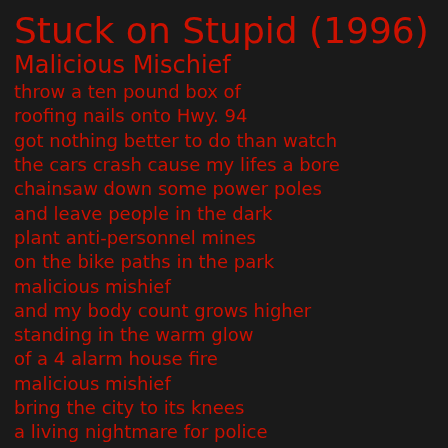Stuck on Stupid (1996)
Malicious Mischief
throw a ten pound box of
roofing nails onto Hwy. 94
got nothing better to do than watch
the cars crash cause my lifes a bore
chainsaw down some power poles
and leave people in the dark
plant anti-personnel mines
on the bike paths in the park
malicious mishief
and my body count grows higher
standing in the warm glow
of a 4 alarm house fire
malicious mishief
bring the city to its knees
a living nightmare for police
and insurance companies
put piranhas in the swimming pools